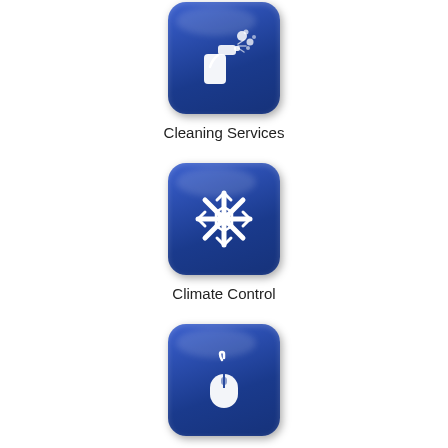[Figure (illustration): Blue rounded square icon with white spray bottle/cleaning spray icon]
Cleaning Services
[Figure (illustration): Blue rounded square icon with white snowflake icon representing climate control]
Climate Control
[Figure (illustration): Blue rounded square icon with white computer mouse icon]